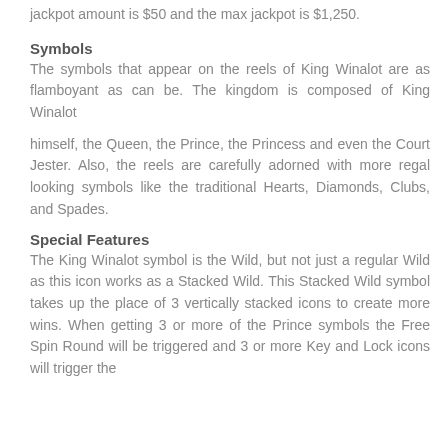jackpot amount is $50 and the max jackpot is $1,250.
Symbols
The symbols that appear on the reels of King Winalot are as flamboyant as can be. The kingdom is composed of King Winalot
himself, the Queen, the Prince, the Princess and even the Court Jester. Also, the reels are carefully adorned with more regal looking symbols like the traditional Hearts, Diamonds, Clubs, and Spades.
Special Features
The King Winalot symbol is the Wild, but not just a regular Wild as this icon works as a Stacked Wild. This Stacked Wild symbol takes up the place of 3 vertically stacked icons to create more wins. When getting 3 or more of the Prince symbols the Free Spin Round will be triggered and 3 or more Key and Lock icons will trigger the profitable King's Chest Pick Em Bonus.